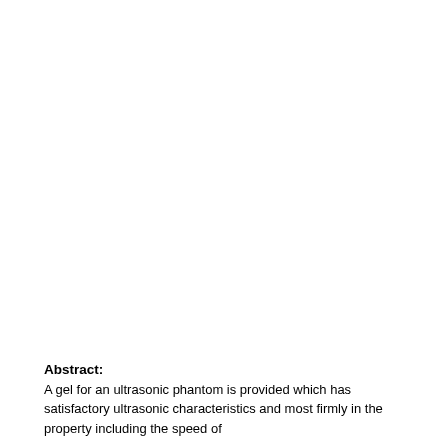Abstract:
A gel for an ultrasonic phantom is provided which has satisfactory ultrasonic characteristics and most firmly in the property including the speed of